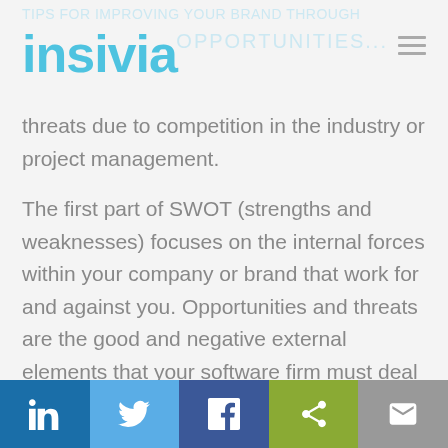insivia
threats due to competition in the industry or project management.
The first part of SWOT (strengths and weaknesses) focuses on the internal forces within your company or brand that work for and against you. Opportunities and threats are the good and negative external elements that your software firm must deal with.
Social share bar: LinkedIn, Twitter, Facebook, Share, Email